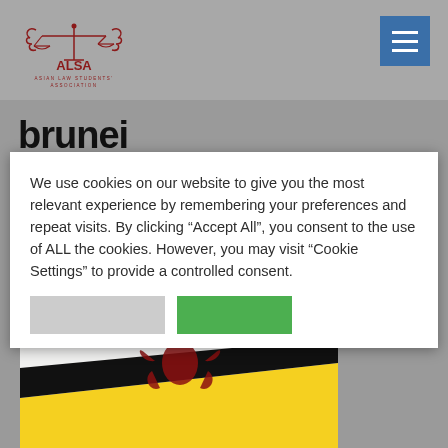[Figure (logo): ALSA - Asian Law Students' Association logo with scales of justice and laurel wreath]
[Figure (other): Blue hamburger menu button with three horizontal white lines]
brunei
We use cookies on our website to give you the most relevant experience by remembering your preferences and repeat visits. By clicking “Accept All”, you consent to the use of ALL the cookies. However, you may visit "Cookie Settings" to provide a controlled consent.
[Figure (photo): Close-up photo of Brunei flag showing yellow diagonal stripes with black stripe, and red emblem/crest in the center]